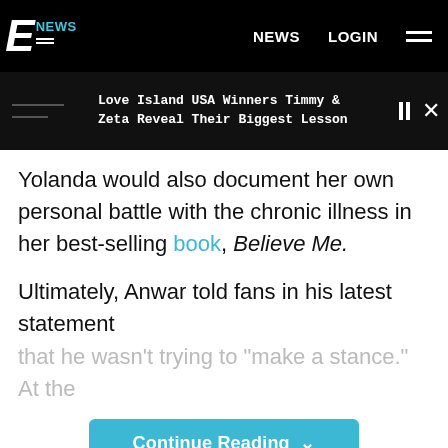E NEWS | NEWS | LOGIN
Love Island USA Winners Timmy & Zeta Reveal Their Biggest Lesson
Yolanda would also document her own personal battle with the chronic illness in her best-selling book, Believe Me.
Ultimately, Anwar told fans in his latest statement that he wasn't trying to "make a stance." At the
Continue Reading
Taboola Feed
[Figure (photo): Partial view of a person with blonde hair against a brown background]